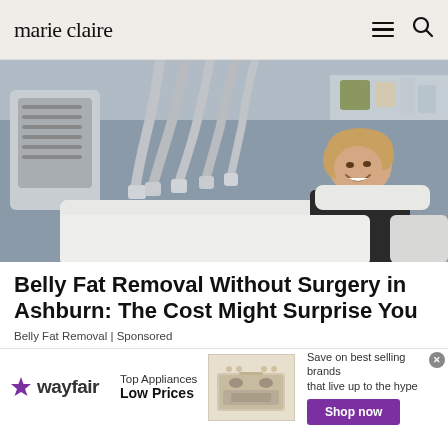marie claire
[Figure (photo): Woman lying on a medical/beauty treatment table smiling, with multiple grey hose attachments from a machine applied to her midsection, inside a clinical spa-like room.]
Belly Fat Removal Without Surgery in Ashburn: The Cost Might Surprise You
Belly Fat Removal | Sponsored
[Figure (infographic): Wayfair advertisement banner: Wayfair logo on left, 'Top Appliances Low Prices' tagline, image of a stove/range in center, 'Save on best selling brands that live up to the hype' with 'Shop now' purple button on right.]